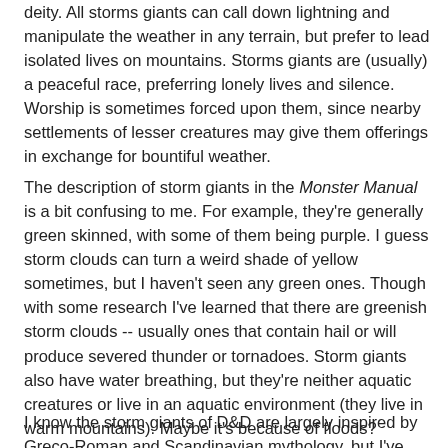deity. All storms giants can call down lightning and manipulate the weather in any terrain, but prefer to lead isolated lives on mountains. Storms giants are (usually) a peaceful race, preferring lonely lives and silence. Worship is sometimes forced upon them, since nearby settlements of lesser creatures may give them offerings in exchange for bountiful weather.
The description of storm giants in the Monster Manual is a bit confusing to me. For example, they're generally green skinned, with some of them being purple. I guess storm clouds can turn a weird shade of yellow sometimes, but I haven't seen any green ones. Though with some research I've learned that there are greenish storm clouds -- usually ones that contain hail or will produce severed thunder or tornadoes. Storm giants also have water breathing, but they're neither aquatic creatures or live in an aquatic environment (they live in warm mountains). Maybe it's because of floods?
I know the storm giants of D&D are largely inspired by Greco-Roman and Scandinavian mythology, but I've gone for